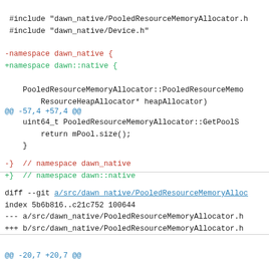#include "dawn_native/PooledResourceMemoryAllocator.h"
 #include "dawn_native/Device.h"
-namespace dawn_native {
+namespace dawn::native {
PooledResourceMemoryAllocator::PooledResourceMemo
        ResourceHeapAllocator* heapAllocator)
@@ -57,4 +57,4 @@
uint64_t PooledResourceMemoryAllocator::GetPoolS
        return mPool.size();
    }
-}  // namespace dawn_native
+}  // namespace dawn::native
diff --git a/src/dawn_native/PooledResourceMemoryAlloc
index 5b6b816..c21c752 100644
--- a/src/dawn_native/PooledResourceMemoryAllocator.h
+++ b/src/dawn_native/PooledResourceMemoryAllocator.h
@@ -20,7 +20,7 @@